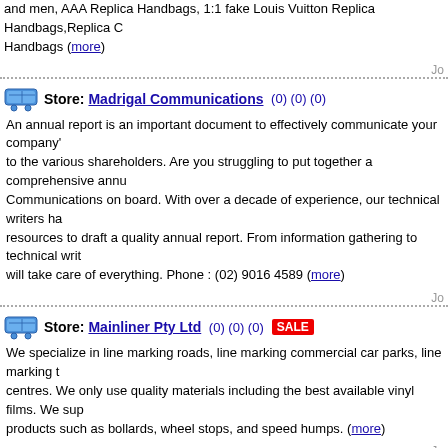and men, AAA Replica Handbags, 1:1 fake Louis Vuitton Replica Handbags,Replica C Handbags (more)
Store: Madrigal Communications (0) (0) (0) — An annual report is an important document to effectively communicate your company's to the various shareholders. Are you struggling to put together a comprehensive annu Communications on board. With over a decade of experience, our technical writers ha resources to draft a quality annual report. From information gathering to technical writ will take care of everything. Phone : (02) 9016 4589 (more)
Store: Mainliner Pty Ltd (0) (0) (0) SALE — We specialize in line marking roads, line marking commercial car parks, line marking centres. We only use quality materials including the best available vinyl films. We sup products such as bollards, wheel stops, and speed humps. (more)
Store: Majestic Cleaning Pros (0) (0) (0) — We are one stop shop for all the cleaning services in Perth. (more)
Store: Man and Van Services Melbourne (0) (0) (0) — Harry the mover company gives the services of moving packing shipping and loading man and van services Melbourne provide all kind of moving like short and long-distan moves furniture removal industrial removal. We provide the best way of moving from (more)
Store: Man Van Service Adelaide (0) (0) (0) — Get your possessions moved safely in a timely manner. Hire a trustworthy Man Van S Harry The Mover at affordable prices. We provide all types of vehicles depending on our clients. Our moving services are very helpful to customers' needs like furniture, ve Contact Man Van Service Adelaide now and get the best services today. Do not wait 318 026 get a free quote. (more)